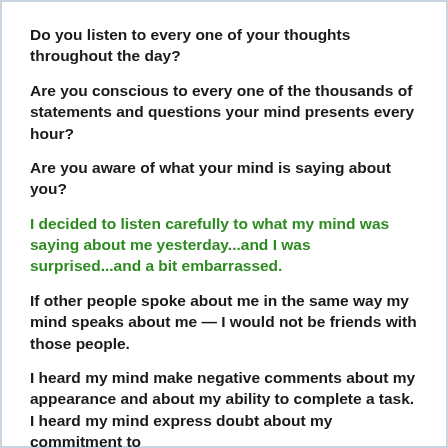Do you listen to every one of your thoughts throughout the day?
Are you conscious to every one of the thousands of statements and questions your mind presents every hour?
Are you aware of what your mind is saying about you?
I decided to listen carefully to what my mind was saying about me yesterday...and I was surprised...and a bit embarrassed.
If other people spoke about me in the same way my mind speaks about me — I would not be friends with those people.
I heard my mind make negative comments about my appearance and about my ability to complete a task. I heard my mind express doubt about my commitment to